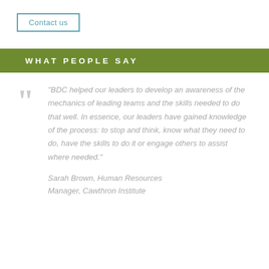Contact us
What people say
"BDC helped our leaders to develop an awareness of the mechanics of leading teams and the skills needed to do that well. In essence, our leaders have gained knowledge of the process: to stop and think, know what they need to do, have the skills to do it or engage others to assist where needed."
Sarah Brown, Human Resources Manager, Cawthron Institute